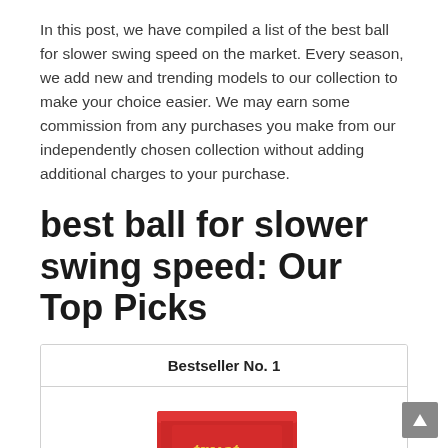In this post, we have compiled a list of the best ball for slower swing speed on the market. Every season, we add new and trending models to our collection to make your choice easier. We may earn some commission from any purchases you make from our independently chosen collection without adding additional charges to your purchase.
best ball for slower swing speed: Our Top Picks
| Bestseller No. 1 |
| --- |
| [product image: red Trust golf ball box with one golf ball] |
[Figure (photo): Red box labeled 'Trust' golf balls with one white golf ball in front, partial view]